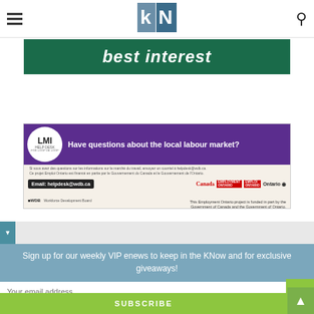kN — navigation header with hamburger menu and search icon
[Figure (illustration): Green banner advertisement with text 'best interest']
[Figure (illustration): LMI Help Desk advertisement banner. Purple header with LMI logo circle and text 'Have questions about the local labour market?'. French subtitle text. Bottom section with email helpdesk@wdb.ca, Canada, Employment Ontario, and Ontario government logos. Funded by Government of Canada and Government of Ontario.]
Sign up for our weekly VIP enews to keep in the KNow and for exclusive giveaways!